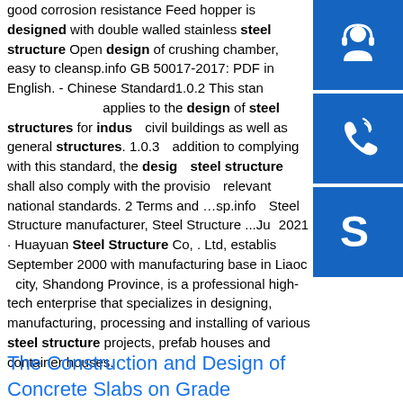good corrosion resistance Feed hopper is designed with double walled stainless steel structure Open design of crushing chamber, easy to cleansp.info GB 50017-2017: PDF in English. - Chinese Standard1.0.2 This standard applies to the design of steel structures for industrial civil buildings as well as general structures. 1.0.3 In addition to complying with this standard, the design of steel structure shall also comply with the provisions of relevant national standards. 2 Terms and …sp.info Steel Structure manufacturer, Steel Structure ...Jun 24, 2021 · Huayuan Steel Structure Co, . Ltd, established in September 2000 with manufacturing base in Liaocheng city, Shandong Province, is a professional high-tech enterprise that specializes in designing, manufacturing, processing and installing of various steel structure projects, prefab houses and container houses.
[Figure (illustration): Three blue square buttons on the right sidebar: first with a headset/support icon, second with a phone/call icon, third with a Skype icon.]
The Construction and Design of Concrete Slabs on Grade